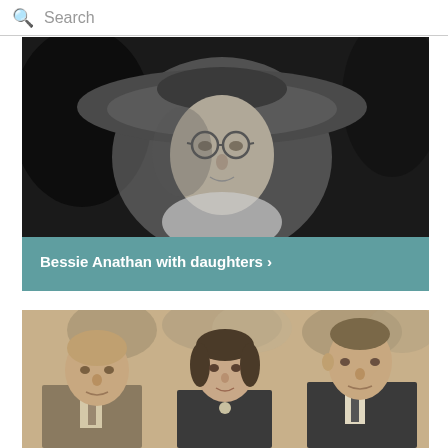Search
[Figure (photo): Black and white portrait photo of Bessie Anathan wearing a wide-brimmed hat and round glasses, looking at the camera]
Bessie Anathan with daughters >
[Figure (photo): Sepia-toned photo of three people seated together — an older man on the left, a young woman in the middle, and a man on the right — with floral arrangement in background]